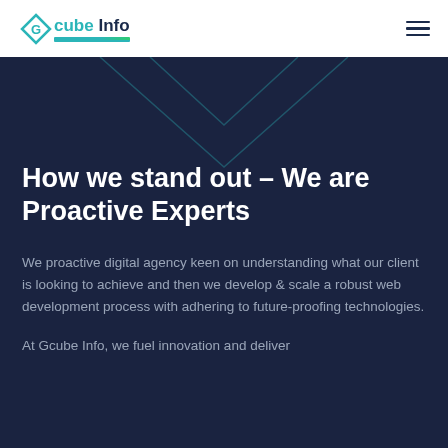[Figure (logo): Gcube Info logo with teal diamond/G icon and dark navy text, underlined]
[Figure (other): Hamburger menu icon (three horizontal lines) in top right corner]
[Figure (illustration): Dark navy background with teal geometric chevron/arrow outlines creating a decorative mountain pattern]
How we stand out – We are Proactive Experts
We proactive digital agency keen on understanding what our client is looking to achieve and then we develop & scale a robust web development process with adhering to future-proofing technologies.
At Gcube Info, we fuel innovation and deliver